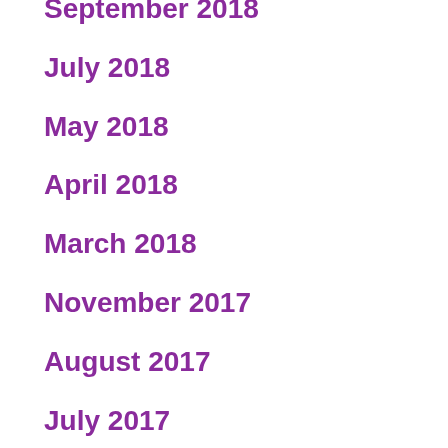September 2018
July 2018
May 2018
April 2018
March 2018
November 2017
August 2017
July 2017
June 2017
May 2017